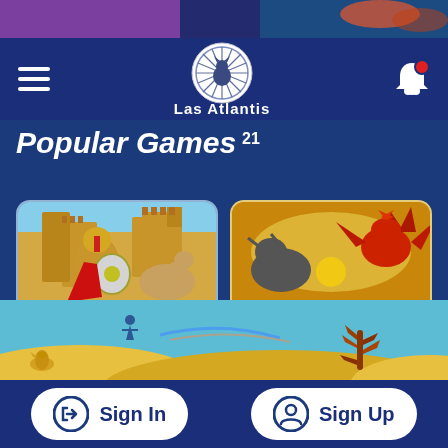Las Atlantis
Popular Games 21
[Figure (screenshot): Achilles slot game thumbnail showing a Greek warrior in golden armor with castle background and 'ACHILLES' text]
[Figure (screenshot): Ancient Gods slot game thumbnail showing mythological creatures and golden dragon with 'ANCIENT GODS' text]
[Figure (illustration): Desert and ocean animated background scene with sand dunes, a golden lamp, coral/tree elements, and a diving figure]
Sign In
Sign Up